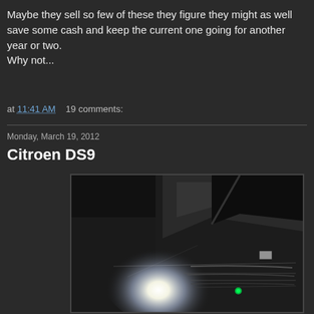Maybe they sell so few of these they figure they might as well save some cash and keep the current one going for another year or two.
Why not...
at 11:41 AM   19 comments:
Monday, March 19, 2012
Citroen DS9
[Figure (photo): Dark teaser photo of the front of the Citroen DS9 concept car with bright headlight glare on a dark background]